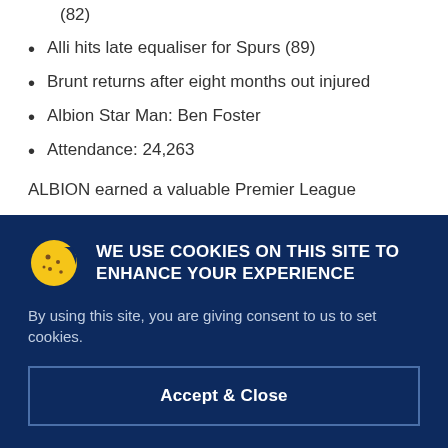(82)
Alli hits late equaliser for Spurs (89)
Brunt returns after eight months out injured
Albion Star Man: Ben Foster
Attendance: 24,263
ALBION earned a valuable Premier League
[Figure (other): Cookie consent banner with cookie icon, title 'WE USE COOKIES ON THIS SITE TO ENHANCE YOUR EXPERIENCE', body text 'By using this site, you are giving consent to us to set cookies.', and an Accept & Close button]